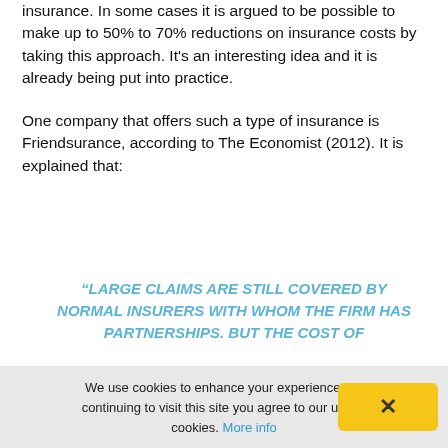insurance. In some cases it is argued to be possible to make up to 50% to 70% reductions on insurance costs by taking this approach. It's an interesting idea and it is already being put into practice.
One company that offers such a type of insurance is Friendsurance, according to The Economist (2012). It is explained that:
“LARGE CLAIMS ARE STILL COVERED BY NORMAL INSURERS WITH WHOM THE FIRM HAS PARTNERSHIPS. BUT THE COST OF
We use cookies to enhance your experience. By continuing to visit this site you agree to our use of cookies. More info